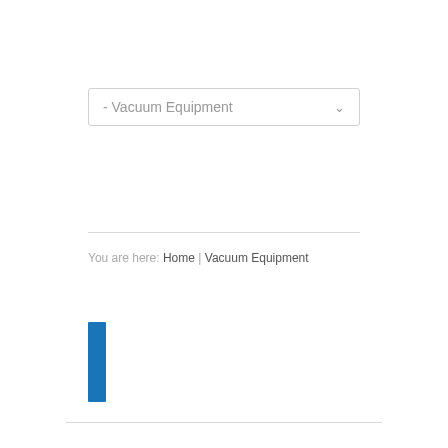- Vacuum Equipment
You are here: Home | Vacuum Equipment
[Figure (other): Blue vertical rectangle bar element, decorative UI component]